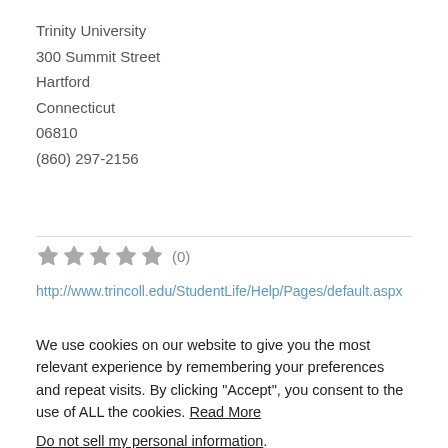Trinity University
300 Summit Street
Hartford
Connecticut
06810
(860) 297-2156
(0)
http://www.trincoll.edu/StudentLife/Help/Pages/default.aspx
We use cookies on our website to give you the most relevant experience by remembering your preferences and repeat visits. By clicking “Accept”, you consent to the use of ALL the cookies. Read More
Do not sell my personal information.
Cookie settings
ACCEPT